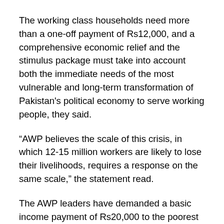The working class households need more than a one-off payment of Rs12,000, and a comprehensive economic relief and the stimulus package must take into account both the immediate needs of the most vulnerable and long-term transformation of Pakistan's political economy to serve working people, they said.
“AWP believes the scale of this crisis, in which 12-15 million workers are likely to lose their livelihoods, requires a response on the same scale,” the statement read.
The AWP leaders have demanded a basic income payment of Rs20,000 to the poorest 15 million households for a guaranteed period of three months to enable workers in these families to stay at home to protect themselves and those around them from the virus and afford basic necessities at the same time.
The fiscal space required to finance this will have to be created by cutting down on non-productive expenditures from other organisations and departments, including non-combat defence expenditures. The AWP leaders called for immediate simple